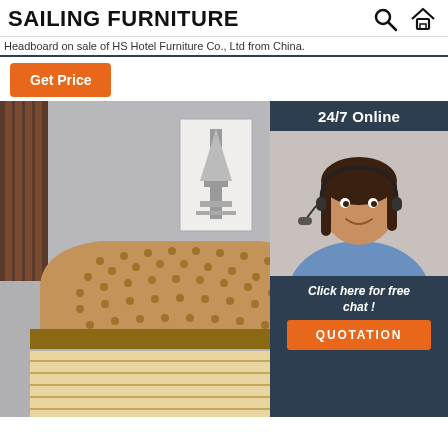SAILING FURNITURE
Headboard on sale of HS Hotel Furniture Co., Ltd from China.
Get Price
[Figure (photo): Hotel bed with tufted upholstered headboard in camel/tan color, wooden slat frame, dark curtains visible on left, Eiffel Tower artwork on gray wall behind]
[Figure (photo): Customer service agent - woman with headset smiling, 24/7 Online label at top, Click here for free chat text, QUOTATION button in orange]